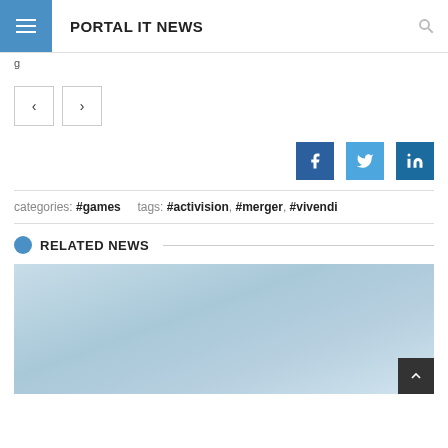PORTAL IT NEWS
g
< >
[Figure (other): Social share buttons: Facebook (f), Twitter (bird icon), LinkedIn (in)]
categories: #games   tags: #activision, #merger, #vivendi
RELATED NEWS
[Figure (photo): Related news article thumbnail image with light blue gradient background]